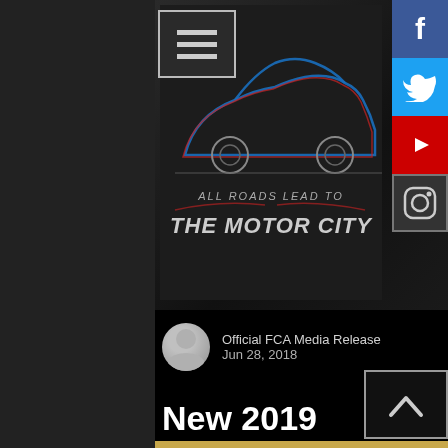[Figure (logo): All Roads Lead To The Motor City logo with car silhouette in red and blue on dark background]
[Figure (other): Hamburger menu button (three horizontal lines) in grey border box]
[Figure (other): Social media icons: Facebook (blue), Twitter (blue), YouTube (red), Instagram (grey)]
Official FCA Media Release
Jun 28, 2018
New 2019 Dodge Challenger SRT Hellcat Redeye: Possessed by the Demon